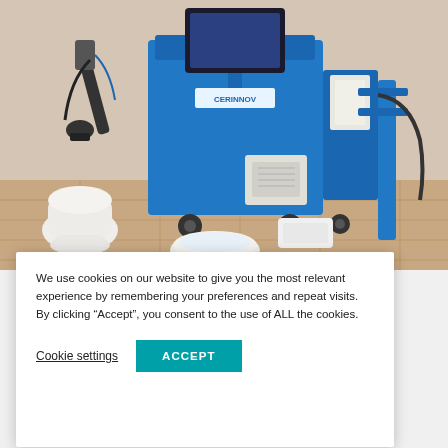[Figure (photo): Photo of a large blue CERINNOV industrial laser marking machine on wheels with a robotic arm attachment, alongside ceramic sanitary ware (toilet and basin) on a tiled outdoor surface.]
We use cookies on our website to give you the most relevant experience by remembering your preferences and repeat visits. By clicking “Accept”, you consent to the use of ALL the cookies.
Cookie settings  ACCEPT
a
LASER,
l US company
d its trust in
ns by
ordering two new CERINNOV BML laser marking